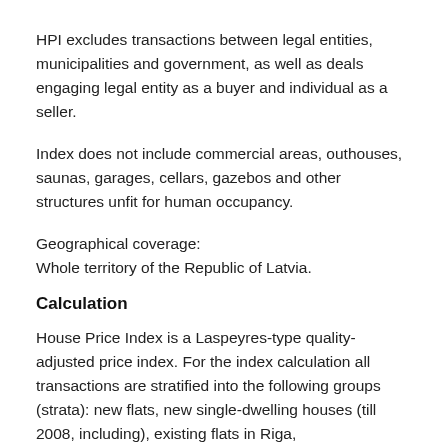HPI excludes transactions between legal entities, municipalities and government, as well as deals engaging legal entity as a buyer and individual as a seller.
Index does not include commercial areas, outhouses, saunas, garages, cellars, gazebos and other structures unfit for human occupancy.
Geographical coverage:
Whole territory of the Republic of Latvia.
Calculation
House Price Index is a Laspeyres-type quality-adjusted price index. For the index calculation all transactions are stratified into the following groups (strata): new flats, new single-dwelling houses (till 2008, including), existing flats in Riga,